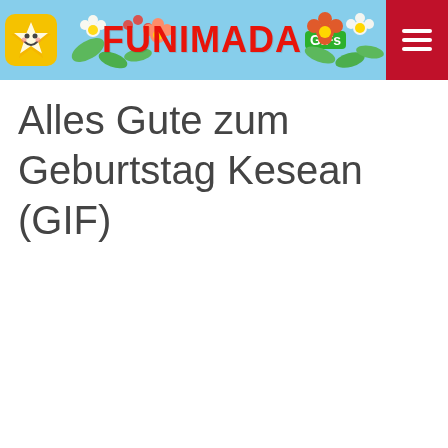FUNIMADA GIFs
Alles Gute zum Geburtstag Kesean (GIF)